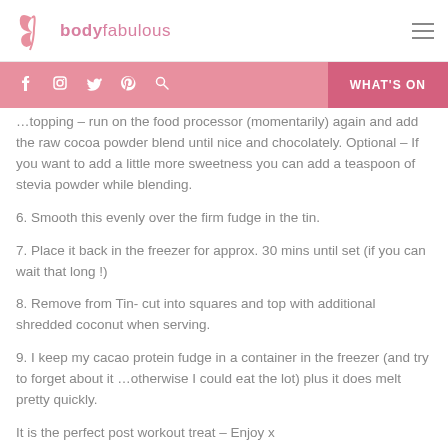bodyfabulous
…topping – run on the food processor (momentarily) again and add the raw cocoa powder blend until nice and chocolately. Optional – If you want to add a little more sweetness you can add a teaspoon of stevia powder while blending.
6. Smooth this evenly over the firm fudge in the tin.
7. Place it back in the freezer for approx. 30 mins until set (if you can wait that long !)
8. Remove from Tin- cut into squares and top with additional shredded coconut when serving.
9. I keep my cacao protein fudge in a container in the freezer (and try to forget about it …otherwise I could eat the lot) plus it does melt pretty quickly.
It is the perfect post workout treat – Enjoy x